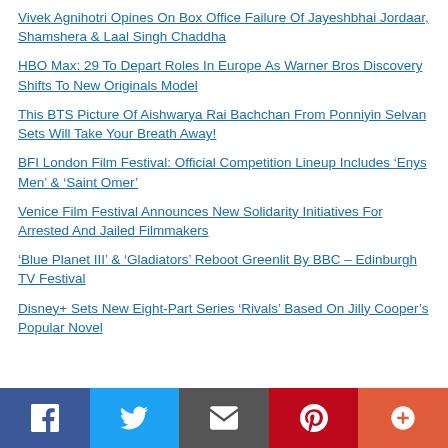Vivek Agnihotri Opines On Box Office Failure Of Jayeshbhai Jordaar, Shamshera & Laal Singh Chaddha
HBO Max: 29 To Depart Roles In Europe As Warner Bros Discovery Shifts To New Originals Model
This BTS Picture Of Aishwarya Rai Bachchan From Ponniyin Selvan Sets Will Take Your Breath Away!
BFI London Film Festival: Official Competition Lineup Includes ‘Enys Men’ & ‘Saint Omer’
Venice Film Festival Announces New Solidarity Initiatives For Arrested And Jailed Filmmakers
‘Blue Planet III’ & ‘Gladiators’ Reboot Greenlit By BBC – Edinburgh TV Festival
Disney+ Sets New Eight-Part Series ‘Rivals’ Based On Jilly Cooper’s Popular Novel